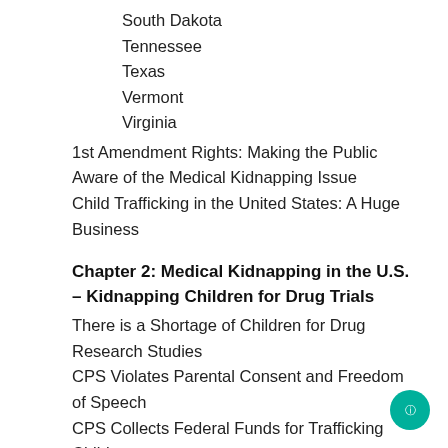South Dakota
Tennessee
Texas
Vermont
Virginia
1st Amendment Rights: Making the Public Aware of the Medical Kidnapping Issue
Child Trafficking in the United States: A Huge Business
Chapter 2: Medical Kidnapping in the U.S. – Kidnapping Children for Drug Trials
There is a Shortage of Children for Drug Research Studies
CPS Violates Parental Consent and Freedom of Speech
CPS Collects Federal Funds for Trafficking Children
CPS and Medical Kidnapping